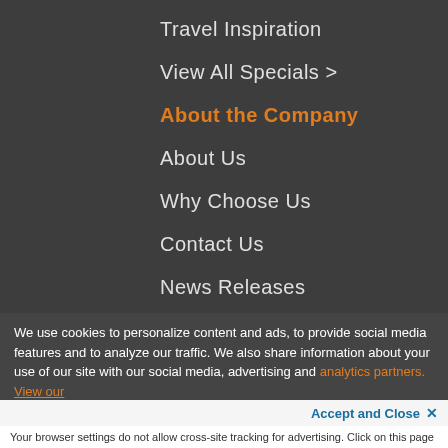Travel Inspiration
View All Specials >
About the Company
About Us
Why Choose Us
Contact Us
News Releases
Careers
For Our Agents
Terms of Use
We use cookies to personalize content and ads, to provide social media features and to analyze our traffic. We also share information about your use of our site with our social media, advertising and analytics partners. View our
Accept and Close ×
Your browser settings do not allow cross-site tracking for advertising. Click on this page to allow AdRoll to use cross-site tracking to tailor ads to you. Learn more or opt out of this AdRoll tracking by clicking here. This message only appears once.